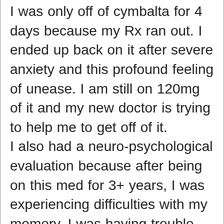I was only off of cymbalta for 4 days because my Rx ran out. I ended up back on it after severe anxiety and this profound feeling of unease. I am still on 120mg of it and my new doctor is trying to help me to get off of it. I also had a neuro-psychological evaluation because after being on this med for 3+ years, I was experiencing difficulties with my memory. I was having trouble remembering appointments and tending to details at my work. I was actually written up for paperwork issues and nothing like this had ever happened before. After 2 years of saying that I felt my memory was slipping, I finally changed psychiatrists and then went for the neuro-psychological. I had these tests about 15 years ago and was diagnosed with mild ADHD then, but my doctor for the last 7 years treated me for bipolar II with lithium 600mg, cymbalta 120mg, and trazodone 100mg. My new psychiatrist it is att...